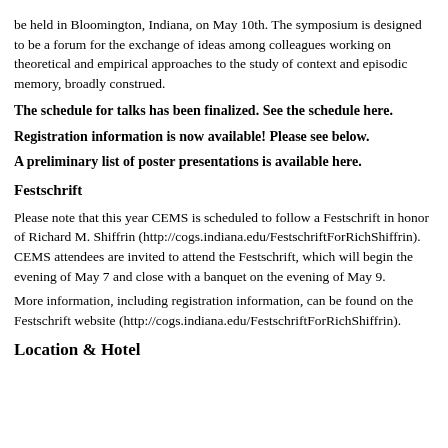be held in Bloomington, Indiana, on May 10th. The symposium is designed to be a forum for the exchange of ideas among colleagues working on theoretical and empirical approaches to the study of context and episodic memory, broadly construed.
The schedule for talks has been finalized. See the schedule here.
Registration information is now available! Please see below.
A preliminary list of poster presentations is available here.
Festschrift
Please note that this year CEMS is scheduled to follow a Festschrift in honor of Richard M. Shiffrin (http://cogs.indiana.edu/FestschriftForRichShiffrin). CEMS attendees are invited to attend the Festschrift, which will begin the evening of May 7 and close with a banquet on the evening of May 9.
More information, including registration information, can be found on the Festschrift website (http://cogs.indiana.edu/FestschriftForRichShiffrin).
Location & Hotel